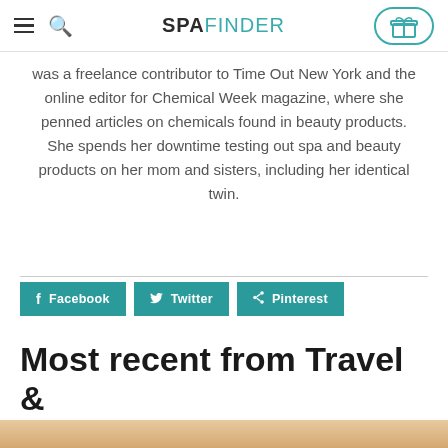SPAFINDER
was a freelance contributor to Time Out New York and the online editor for Chemical Week magazine, where she penned articles on chemicals found in beauty products. She spends her downtime testing out spa and beauty products on her mom and sisters, including her identical twin.
Facebook
Twitter
Pinterest
Most recent from Travel & Play